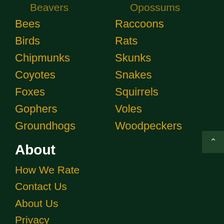Beavers
Opossums
Bees
Raccoons
Birds
Rats
Chipmunks
Skunks
Coyotes
Snakes
Foxes
Squirrels
Gophers
Voles
Groundhogs
Woodpeckers
About
How We Rate
Contact Us
About Us
Privacy
Search WildlifeRemoval.com